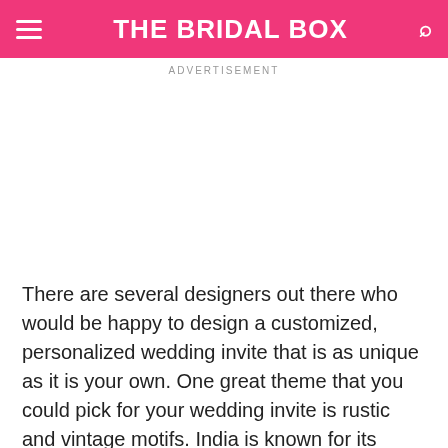THE BRIDAL BOX
ADVERTISEMENT
There are several designers out there who would be happy to design a customized, personalized wedding invite that is as unique as it is your own. One great theme that you could pick for your wedding invite is rustic and vintage motifs. India is known for its sprawling country side and age-old traditions. A rustic theme is not